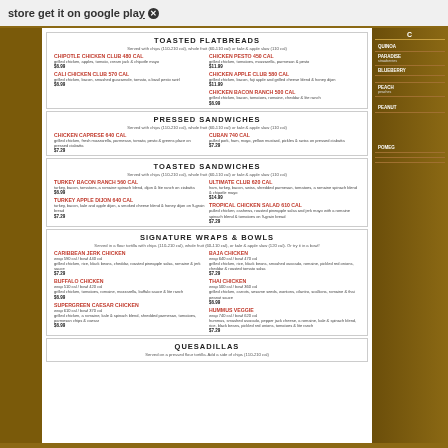store get it on google play
TOASTED FLATBREADS
Served with chips (110-210 cal), whole fruit (60-110 cal) or kale & apple slaw (110 cal)
CHIPOTLE CHICKEN CLUB 480 cal - grilled chicken, apples, tomato, cream jack & chipotle mayo $6.99
CALI CHICKEN CLUB 570 cal - grilled chicken, bacon, smashed guacamole, tomato, a basil pesto swirl $6.99
CHICKEN PESTO 450 cal - grilled chicken, tomatoes, mozzarella, parmesan & pesto $11.99
CHICKEN APPLE CLUB 580 cal - grilled chicken, bacon, fuji apple and goat grilled cheese blend & honey dijon $11.99
CHICKEN BACON RANCH 500 cal - grilled chicken, bacon, tomatoes, romaine, cheddar & lite ranch $6.99
PRESSED SANDWICHES
Served with chips (110-210 cal), whole fruit (60-110 cal) or kale & apple slaw (110 cal)
CHICKEN CAPRESE 640 cal - grilled chicken, fresh mozzarella, parmesan, tomato, pesto & greens place on pressed ciabatta $7.29
CUBAN 740 cal - pulled pork, ham, mayo, yellow mustard, pickles & swiss on pressed ciabatta $7.29
TOASTED SANDWICHES
Served with chips (110-210 cal), whole fruit (60-110 cal) or kale & apple slaw (110 cal)
TURKEY BACON RANCH 560 cal - turkey, bacon, tomatoes, a romaine spinach blend, dijon & lite ranch on ciabatta $6.99
ULTIMATE CLUB 620 cal - ham, turkey, bacon, swiss, shredded parmesan, tomatoes, a romaine spinach blend & chipotle mayo $14.99
TURKEY APPLE DIJON 640 cal - turkey, bacon, kale and apple dijon, a smoked cheese blend & honey dijon on 9-grain bread $7.29
TROPICAL CHICKEN SALAD 610 cal - pulled chicken, cashews, roasted pineapple salsa and jerk mayo with a romaine spinach blend & tomatoes on 9-grain bread $7.29
SIGNATURE WRAPS & BOWLS
Served in a flour tortilla with chips (110-210 cal), whole fruit (60-110 cal), or kale & apple slaw (120 cal). Or try it in a bowl!
CARIBBEAN JERK CHICKEN - wrap 590 cal / bowl 440 cal - grilled chicken, rice, black beans, cheddar, roasted pineapple salsa, romaine & jerk sauce $7.29
BAJA CHICKEN - wrap 640 cal / bowl 470 cal - grilled chicken, rice, black beans, smashed avocado, romaine, pickled red onions, cheddar & roasted tomato salsa $7.29
BUFFALO CHICKEN - wrap 510 cal / bowl 420 cal - grilled chicken, tomatoes, romaine, mozzarella, buffalo sauce & lite ranch $6.99
THAI CHICKEN - wrap 500 cal / bowl 360 cal - grilled chicken, carrots, sesame seeds, wontons, cilantro, scallions, romaine & thai peanut sauce $6.99
SUPERGREEN CAESAR CHICKEN - wrap 610 cal / bowl 370 cal - grilled chicken, a romaine, kale & spinach blend, shredded parmesan, tomatoes, parmesan chips & caesar $6.99
HUMMUS VEGGIE - wrap 740 cal / bowl 620 cal - hummus, smashed avocado, pepper jack cheese, a romaine, kale & spinach blend, rice, black beans, pickled red onions, tomatoes & lite ranch $7.29
QUESADILLAS
Served on a pressed flour tortilla. Add a side of chips (110-210 cal)